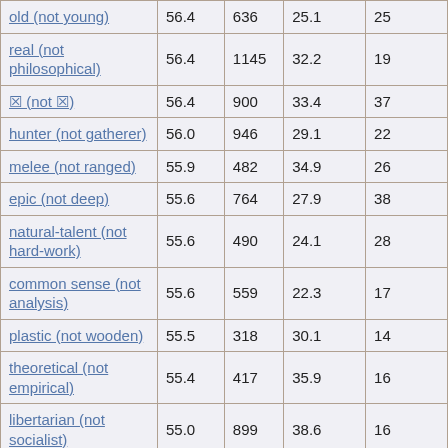| old (not young) | 56.4 | 636 | 25.1 | 25 |
| real (not philosophical) | 56.4 | 1145 | 32.2 | 19 |
| ? (not ?) | 56.4 | 900 | 33.4 | 37 |
| hunter (not gatherer) | 56.0 | 946 | 29.1 | 22 |
| melee (not ranged) | 55.9 | 482 | 34.9 | 26 |
| epic (not deep) | 55.6 | 764 | 27.9 | 38 |
| natural-talent (not hard-work) | 55.6 | 490 | 24.1 | 28 |
| common sense (not analysis) | 55.6 | 559 | 22.3 | 17 |
| plastic (not wooden) | 55.5 | 318 | 30.1 | 14 |
| theoretical (not empirical) | 55.4 | 417 | 35.9 | 16 |
| libertarian (not socialist) | 55.0 | 899 | 38.6 | 16 |